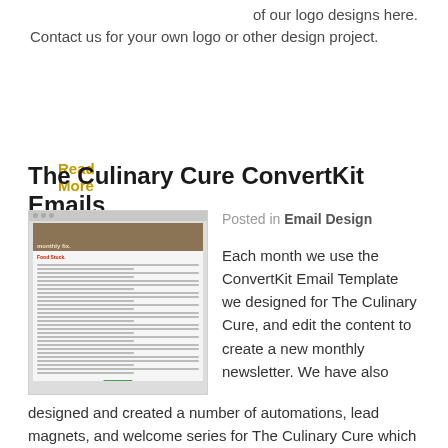of our logo designs here.
Contact us for your own logo or other design project.
Read More
The Culinary Cure ConvertKit Emails
[Figure (screenshot): Screenshot of The Culinary Cure email newsletter template showing a food image banner, red heading 'Food Stuck.', text content, and a green button at the bottom.]
Posted in Email Design
Each month we use the ConvertKit Email Template we designed for The Culinary Cure, and edit the content to create a new monthly newsletter. We have also designed and created a number of automations, lead magnets, and welcome series for The Culinary Cure which are tied to the client's website. We first designed a ConvertKit [...]